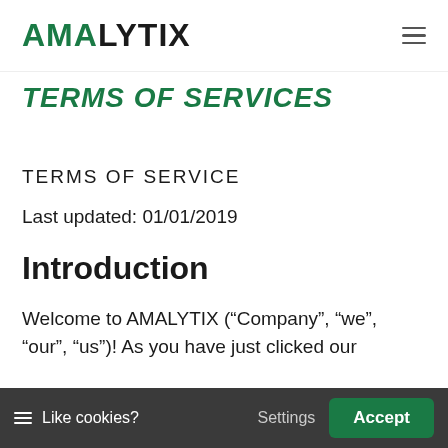AMALYTIX
TERMS OF SERVICES
TERMS OF SERVICE
Last updated: 01/01/2019
Introduction
Welcome to AMALYTIX (“Company”, “we”, “our”, “us”)! As you have just clicked our
Like cookies?  Settings  Accept